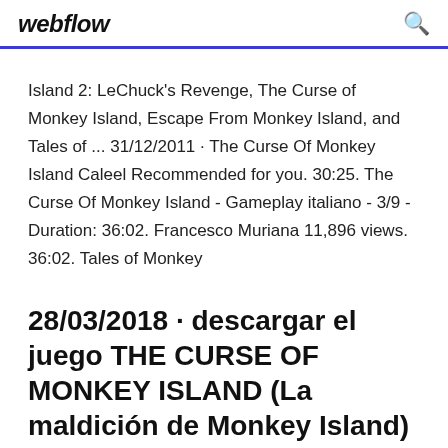webflow
Island 2: LeChuck's Revenge, The Curse of Monkey Island, Escape From Monkey Island, and Tales of ... 31/12/2011 · The Curse Of Monkey Island Caleel Recommended for you. 30:25. The Curse Of Monkey Island - Gameplay italiano - 3/9 - Duration: 36:02. Francesco Muriana 11,896 views. 36:02. Tales of Monkey
28/03/2018 · descargar el juego THE CURSE OF MONKEY ISLAND (La maldición de Monkey Island) Completamente gratis con crack incluido para PC. Entr...